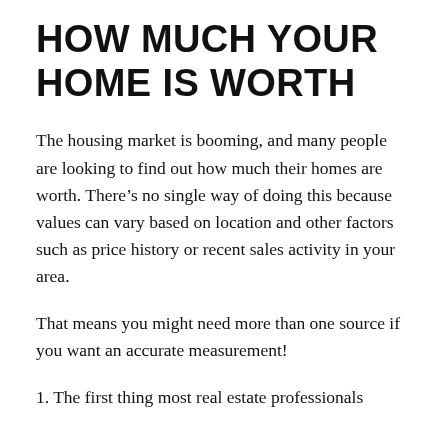HOW MUCH YOUR HOME IS WORTH
The housing market is booming, and many people are looking to find out how much their homes are worth. There’s no single way of doing this because values can vary based on location and other factors such as price history or recent sales activity in your area.
That means you might need more than one source if you want an accurate measurement!
1. The first thing most real estate professionals